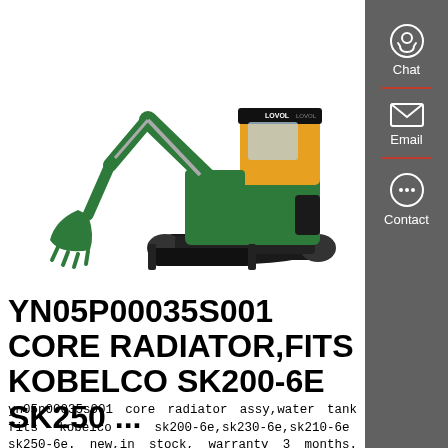[Figure (photo): Green and yellow Lovol mini excavator on white background, with bucket arm extended and blade attachment at front.]
YN05P00035S001 CORE RADIATOR,FITS KOBELCO SK200-6E SK250 ...
yn05p00035s001 core radiator assy,water tank fits kobelco sk200-6e,sk230-6e,sk210-6e sk250-6e. new,in stock, warranty 3 months. fast shipping,